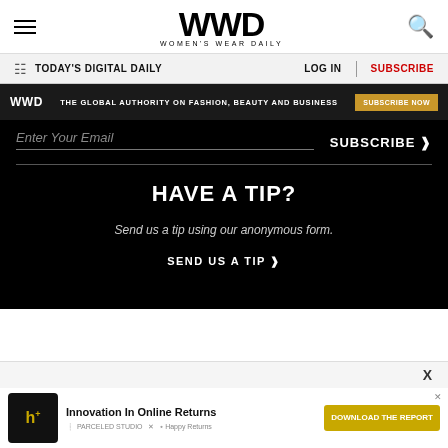WWD — Women's Wear Daily
TODAY'S DIGITAL DAILY | LOG IN | SUBSCRIBE
[Figure (infographic): WWD ad banner: 'THE GLOBAL AUTHORITY ON FASHION, BEAUTY AND BUSINESS' with SUBSCRIBE NOW button]
Enter Your Email  SUBSCRIBE >
HAVE A TIP?
Send us a tip using our anonymous form.
SEND US A TIP >
[Figure (infographic): Bottom ad banner: Innovation In Online Returns - DOWNLOAD THE REPORT. Happy Returns product image.]